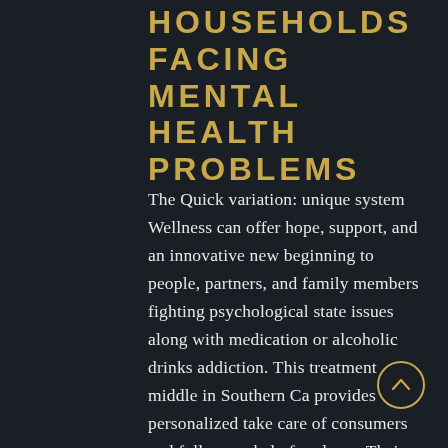HOUSEHOLDS FACING MENTAL HEALTH PROBLEMS
The Quick variation: unique system Wellness can offer hope, support, and an innovative new beginning to people, partners, and family members fighting psychological state issues along with medication or alcoholic drinks addiction. This treatment middle in Southern Ca provides personalized take care of consumers and follow-up help for alums. Their practical and high-touch data recovery products have